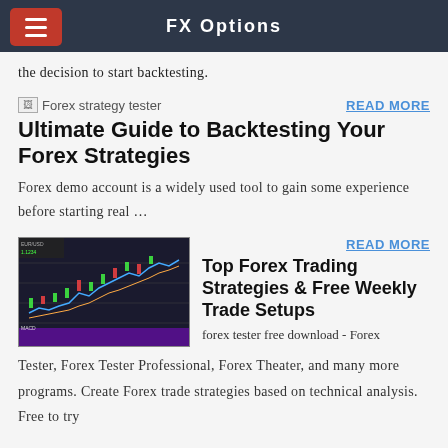FX Options
the decision to start backtesting.
[Figure (screenshot): Broken image placeholder labeled 'Forex strategy tester']
Ultimate Guide to Backtesting Your Forex Strategies
Forex demo account is a widely used tool to gain some experience before starting real …
[Figure (screenshot): Screenshot of a forex trading platform showing candlestick chart with trading indicators]
Top Forex Trading Strategies & Free Weekly Trade Setups
forex tester free download - Forex Tester, Forex Tester Professional, Forex Theater, and many more programs. Create Forex trade strategies based on technical analysis. Free to try